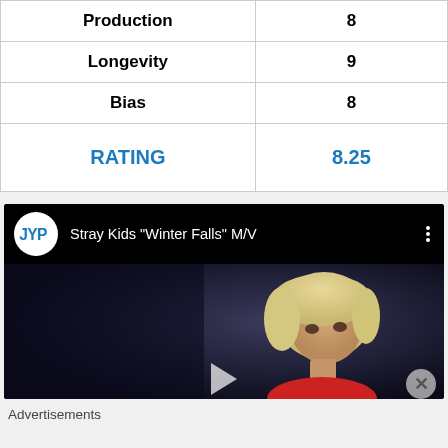| Category | Score |
| --- | --- |
| Production | 8 |
| Longevity | 9 |
| Bias | 8 |
| RATING | 8.25 |
[Figure (screenshot): YouTube video embed showing Stray Kids 'Winter Falls' M/V with JYP Entertainment logo, video title, and thumbnail showing a person with blonde hair against a dark background.]
Advertisements